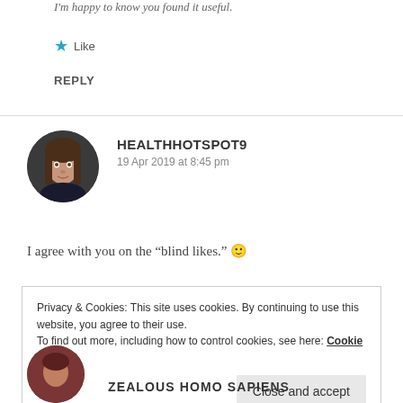I'm happy to know you found it useful.
★ Like
REPLY
HEALTHHOTSPOT9
19 Apr 2019 at 8:45 pm
[Figure (photo): Circular avatar of a young woman with long brown hair]
I agree with you on the “blind likes.” 🙂
Privacy & Cookies: This site uses cookies. By continuing to use this website, you agree to their use.
To find out more, including how to control cookies, see here: Cookie Policy

Close and accept
[Figure (photo): Partial circular avatar in dark reddish-brown color at bottom]
ZEALOUS HOMO SAPIENS